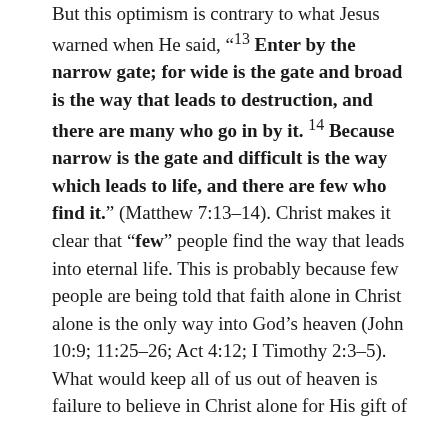But this optimism is contrary to what Jesus warned when He said, “¹³ Enter by the narrow gate; for wide is the gate and broad is the way that leads to destruction, and there are many who go in by it. ¹⁴ Because narrow is the gate and difficult is the way which leads to life, and there are few who find it.” (Matthew 7:13–14). Christ makes it clear that “few” people find the way that leads into eternal life. This is probably because few people are being told that faith alone in Christ alone is the only way into God’s heaven (John 10:9; 11:25–26; Act 4:12; I Timothy 2:3–5).
What would keep all of us out of heaven is failure to believe in Christ alone for His gift of